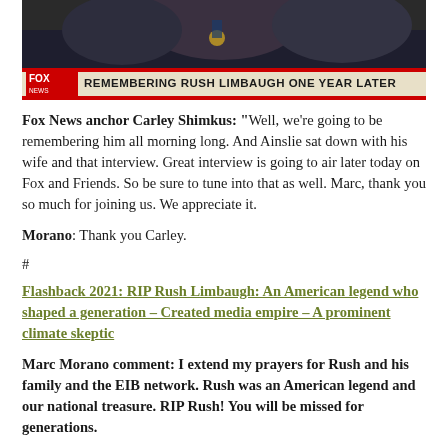[Figure (screenshot): Fox News screenshot showing a man receiving a medal with chyron text reading 'REMEMBERING RUSH LIMBAUGH ONE YEAR LATER']
Fox News anchor Carley Shimkus: "Well, we're going to be remembering him all morning long. And Ainslie sat down with his wife and that interview. Great interview is going to air later today on Fox and Friends. So be sure to tune into that as well. Marc, thank you so much for joining us. We appreciate it.
Morano: Thank you Carley.
#
Flashback 2021: RIP Rush Limbaugh: An American legend who shaped a generation – Created media empire – A prominent climate skeptic
Marc Morano comment: I extend my prayers for Rush and his family and the EIB network. Rush was an American legend and our national treasure. RIP Rush! You will be missed for generations.